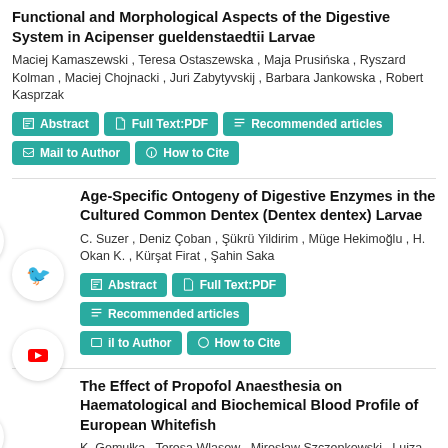Functional and Morphological Aspects of the Digestive System in Acipenser gueldenstaedtii Larvae
Maciej Kamaszewski , Teresa Ostaszewska , Maja Prusińska , Ryszard Kolman , Maciej Chojnacki , Juri Zabytyvskij , Barbara Jankowska , Robert Kasprzak
Abstract | Full Text:PDF | Recommended articles | Mail to Author | How to Cite
Age-Specific Ontogeny of Digestive Enzymes in the Cultured Common Dentex (Dentex dentex) Larvae
C. Suzer , Deniz Çoban , Şükrü Yildirim , Müge Hekimoğlu , H. Okan K. , Kürşat Firat , Şahin Saka
Abstract | Full Text:PDF | Recommended articles | Mail to Author | How to Cite
The Effect of Propofol Anaesthesia on Haematological and Biochemical Blood Profile of European Whitefish
K. Gomułka , Teresa Wlasow , Mirosław Szczepkowski , Luiza Misiewicz , Elżbieta Ziomek
Abstract | Full Text:PDF | Recommended articles | Mail to Author | How to Cite